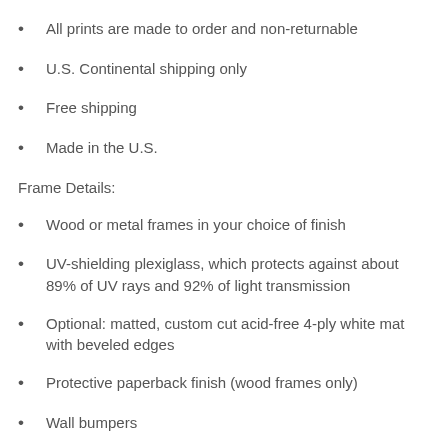All prints are made to order and non-returnable
U.S. Continental shipping only
Free shipping
Made in the U.S.
Frame Details:
Wood or metal frames in your choice of finish
UV-shielding plexiglass, which protects against about 89% of UV rays and 92% of light transmission
Optional: matted, custom cut acid-free 4-ply white mat with beveled edges
Protective paperback finish (wood frames only)
Wall bumpers